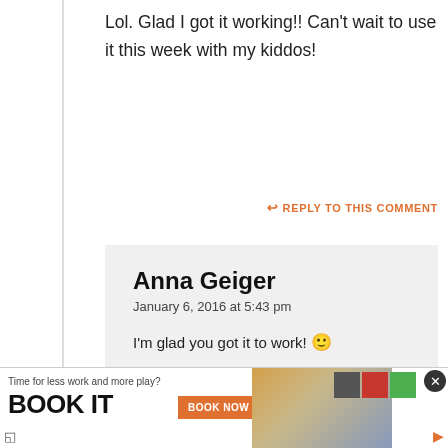Lol. Glad I got it working!! Can't wait to use it this week with my kiddos!
↩ REPLY TO THIS COMMENT
Anna Geiger
January 6, 2016 at 5:43 pm
I'm glad you got it to work! 🙂
↩ REPLY TO THIS COMMENT
[Figure (screenshot): Advertisement banner at bottom: 'Time for less work and more play? BOOK IT' with BOOK NOW button, hotel brand logos, close button, and a photo of a person]